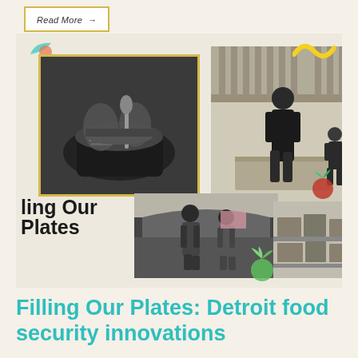Read More →
[Figure (photo): Collage of black-and-white photos showing food-related community scenes: hands cooking with pots, an adult and child in a garden, people loading a car trunk with food supplies, and boxes of food. Decorative colorful elements (teal leaf, yellow squiggles, red beet, pink rectangle, green vegetable) overlay the collage. Text overlay reads 'ling Our Plates' (partially cropped).]
Filling Our Plates: Detroit food security innovations